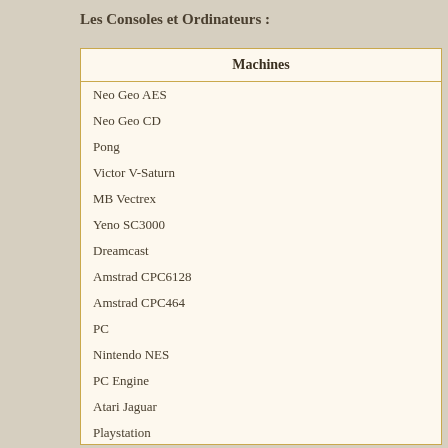Les Consoles et Ordinateurs :
| Machines |
| --- |
| Neo Geo AES |
| Neo Geo CD |
| Pong |
| Victor V-Saturn |
| MB Vectrex |
| Yeno SC3000 |
| Dreamcast |
| Amstrad CPC6128 |
| Amstrad CPC464 |
| PC |
| Nintendo NES |
| PC Engine |
| Atari Jaguar |
| Playstation |
| Mega CD |
| MSX 1&2 |